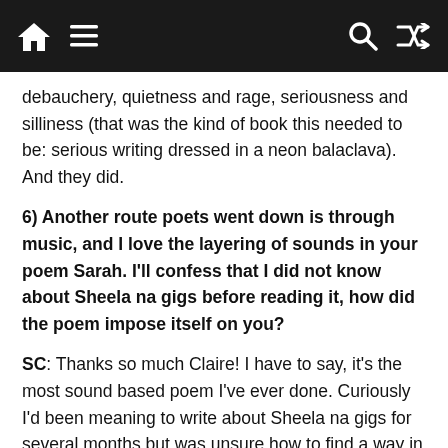Navigation bar with home, menu, search, and shuffle icons
debauchery, quietness and rage, seriousness and silliness (that was the kind of book this needed to be: serious writing dressed in a neon balaclava). And they did.
6) Another route poets went down is through music, and I love the layering of sounds in your poem Sarah. I'll confess that I did not know about Sheela na gigs before reading it, how did the poem impose itself on you?
SC: Thanks so much Claire! I have to say, it's the most sound based poem I've ever done. Curiously I'd been meaning to write about Sheela na gigs for several months but was unsure how to find a way in (insert chuckle here). I was also familiar with the fabulous PJ Harvey song. Then this came up, and I thought it was